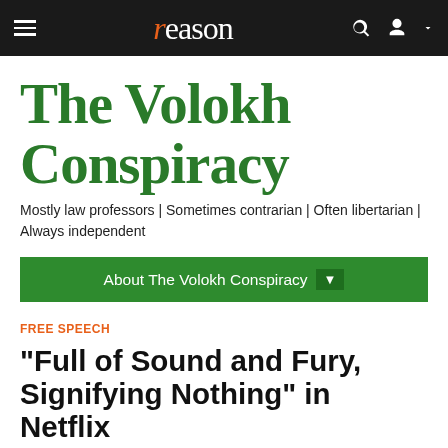reason
The Volokh Conspiracy
Mostly law professors | Sometimes contrarian | Often libertarian | Always independent
About The Volokh Conspiracy
FREE SPEECH
"Full of Sound and Fury, Signifying Nothing" in Netflix Lawsuit Over Cuties Prosecution